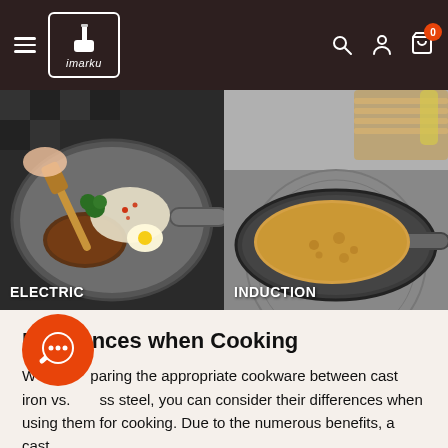imarku
[Figure (photo): Two side-by-side cookware photos: left shows a stainless steel pan with steak, egg, broccoli and rice being stirred with a wooden spatula on an electric stove, labeled ELECTRIC; right shows a stainless steel pan with a pancake/crepe on an induction cooktop with stacked crepes in background, labeled INDUCTION]
Differences when Cooking
When comparing the appropriate cookware between cast iron vs. stainless steel, you can consider their differences when using them for cooking. Due to the numerous benefits, a cast